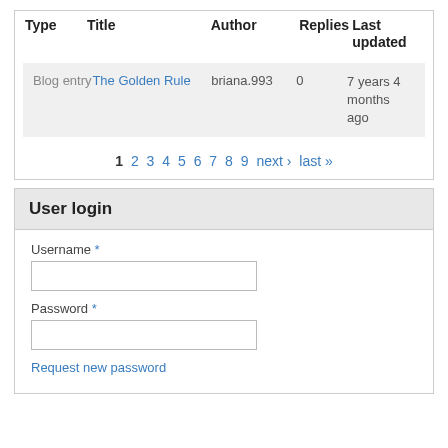| Type | Title | Author | Replies | Last updated |
| --- | --- | --- | --- | --- |
| Blog entry | The Golden Rule | briana.993 | 0 | 7 years 4 months ago |
1 2 3 4 5 6 7 8 9 next › last »
User login
Username *
Password *
Request new password